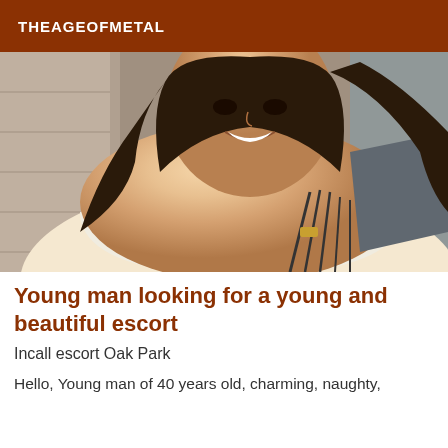THEAGEOFMETAL
[Figure (photo): Close-up photo of a young woman smiling, wearing a white top with black straps]
Young man looking for a young and beautiful escort
Incall escort Oak Park
Hello, Young man of 40 years old, charming, naughty,